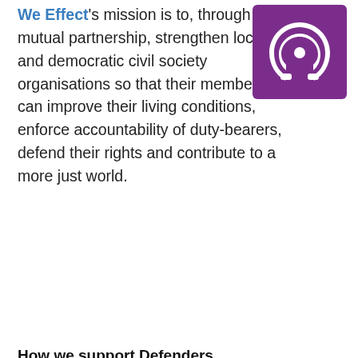We Effect's mission is to, through a mutual partnership, strengthen local and democratic civil society organisations so that their members can improve their living conditions, enforce accountability of duty-bearers, defend their rights and contribute to a more just world.
[Figure (logo): We Effect logo — white swirl/curl symbol on a purple square background]
How we support Defenders
World Resources Institute (WRI)
[Figure (logo): World Resources Institute logo — gold/orange geometric interlocking diamond pattern on the left, and serif text reading WORLD RESOURCES on the right]